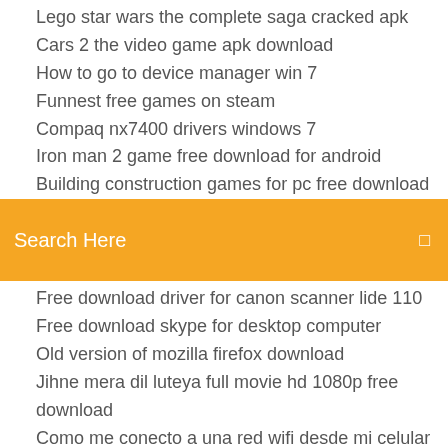Lego star wars the complete saga cracked apk
Cars 2 the video game apk download
How to go to device manager win 7
Funnest free games on steam
Compaq nx7400 drivers windows 7
Iron man 2 game free download for android
Building construction games for pc free download
[Figure (screenshot): Orange search bar with text 'Search Here' and a search icon on the right]
Free download driver for canon scanner lide 110
Free download skype for desktop computer
Old version of mozilla firefox download
Jihne mera dil luteya full movie hd 1080p free download
Como me conecto a una red wifi desde mi celular
Evga x58 sli
Net cat windows 7 download
Realtek network drivers for windows xp
Caixa de entrada do gmail login
Google earth 3d plugin chrome